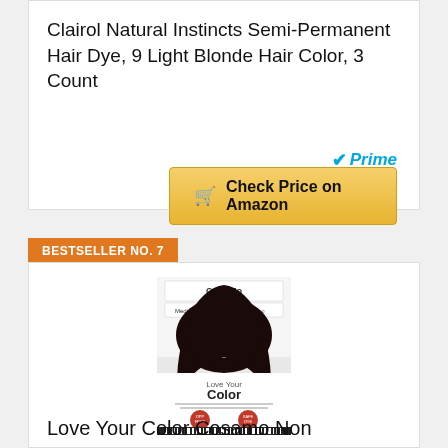Clairol Natural Instincts Semi-Permanent Hair Dye, 9 Light Blonde Hair Color, 3 Count
[Figure (other): Amazon Prime badge with blue checkmark and italic 'Prime' text]
[Figure (other): Gold 'Check Price on Amazon' button with shopping cart icon]
BESTSELLER NO. 7
[Figure (photo): Product photo of Love Your Color Cosamo Non hair dye box showing a woman with dark brown wavy hair]
Love Your Color Cosamo Non